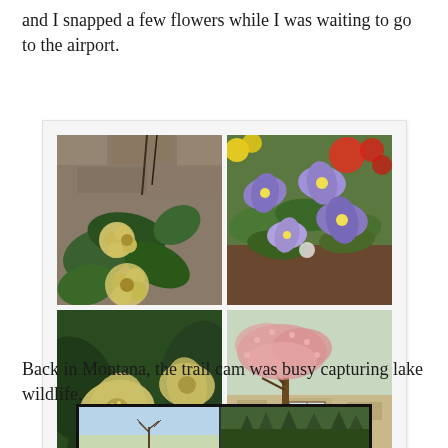and I snapped a few flowers while I was waiting to go to the airport.
[Figure (photo): A collage of four flower photos: top-left shows pale yellow/cream hellebore flowers against a stone wall background; top-right shows purple/blue pansies in a garden bed; bottom-left is a large close-up of cream hellebore blooms with green leaves; bottom-right shows a pink flowering cherry or crabapple tree in front of a stone building.]
Back in Montana, the trail cam was busy capturing lake wildlife.
[Figure (photo): Bottom portion of a trail camera photo showing two panels: left side shows a pale blue sky/water scene with a bare tree; right side shows a forested hillside with evergreen trees.]